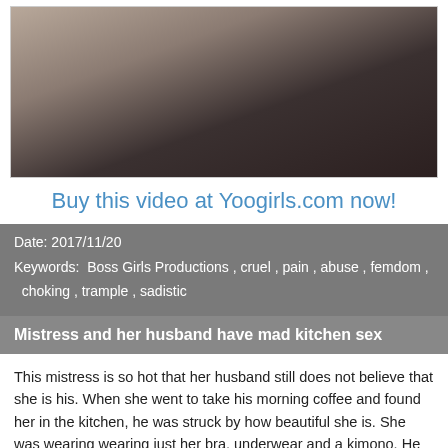[Figure (photo): A woman with dark hair and tattoos sitting on a dark ottoman/chest, wearing dark lingerie and fishnet stockings. A person lying on the floor is partially visible in the lower left.]
Buy this video at Yoogirls.com now!
Date: 2017/11/20
Keywords: Boss Girls Productions , cruel , pain , abuse , femdom , choking , trample , sadistic
Mistress and her husband have mad kitchen sex
This mistress is so hot that her husband still does not believe that she is his. When she went to take his morning coffee and found her in the kitchen, he was struck by how beautiful she is. She was wearing wearing just her bra, underwear and a kimono. He was